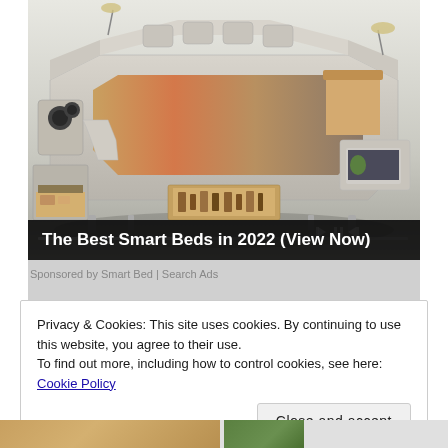[Figure (screenshot): Advertisement image showing a luxury smart bed with multiple features including speakers, storage drawers, massage chair attachment, and reading lights. The bed has a cream/beige leather finish with a wood-toned mattress surface showing colorful bedding. A laptop is visible on the right side. Media player controls and a progress bar overlay appear at the bottom of the image.]
The Best Smart Beds in 2022 (View Now)
Sponsored by Smart Bed | Search Ads
Privacy & Cookies: This site uses cookies. By continuing to use this website, you agree to their use.
To find out more, including how to control cookies, see here: Cookie Policy
Close and accept